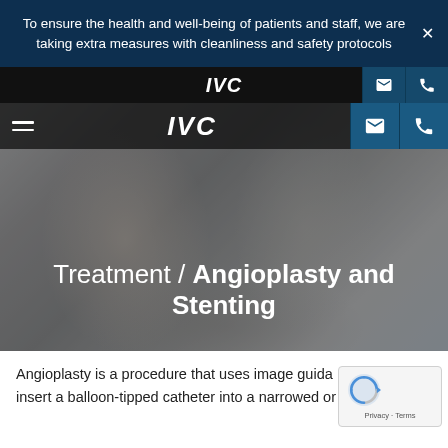To ensure the health and well-being of patients and staff, we are taking extra measures with cleanliness and safety protocols
[Figure (screenshot): Medical clinic website hero image showing two elderly people smiling and laughing outdoors, with navigation bar overlay, logo 'IVC', hamburger menu, email and phone icon buttons, and page title 'Treatment / Angioplasty and Stenting' in white text]
Treatment / Angioplasty and Stenting
Angioplasty is a procedure that uses image guida… insert a balloon-tipped catheter into a narrowed or